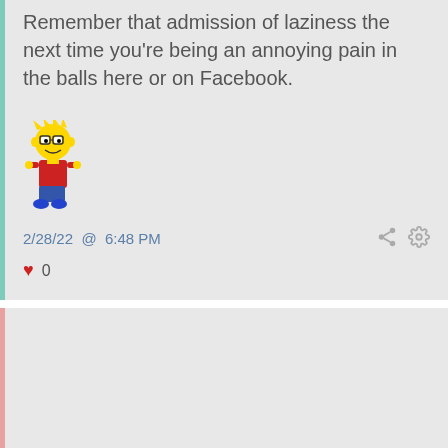Remember that admission of laziness the next time you're being an annoying pain in the balls here or on Facebook.
[Figure (illustration): Bart Simpson cartoon character standing]
2/28/22  @  6:48 PM
0
bman
@billhike posted:
Remember that admission of laziness the next time you're being an annoying pain in the balls here or on Facebook.
[Figure (illustration): Bart Simpson cartoon character standing (partial, bottom of page)]